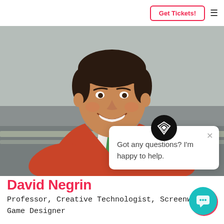Get Tickets!
[Figure (photo): Portrait photo of David Negrin, a smiling man wearing an orange sweater with a green tie and white collared shirt, seated outdoors on a bench with a blurred urban background.]
[Figure (screenshot): Chat popup widget with diamond logo icon, close button (x), and text: Got any questions? I'm happy to help.]
David Negrin
Professor, Creative Technologist, Screenwriter, Game Designer